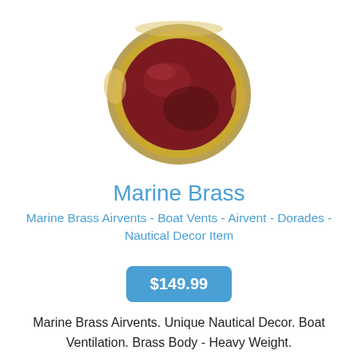[Figure (photo): Close-up photo of a marine brass airvent with a dark red/maroon oval face and brass/gold metallic rim, viewed at a slight angle from above.]
Marine Brass
Marine Brass Airvents - Boat Vents - Airvent - Dorades - Nautical Decor Item
$149.99
Marine Brass Airvents. Unique Nautical Decor. Boat Ventilation. Brass Body - Heavy Weight.